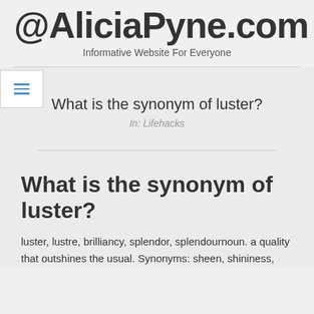@AliciaPyne.com — Informative Website For Everyone
What is the synonym of luster?
In: Lifehacks
What is the synonym of luster?
luster, lustre, brilliancy, splendor, splendournoun. a quality that outshines the usual. Synonyms: sheen, shininess,